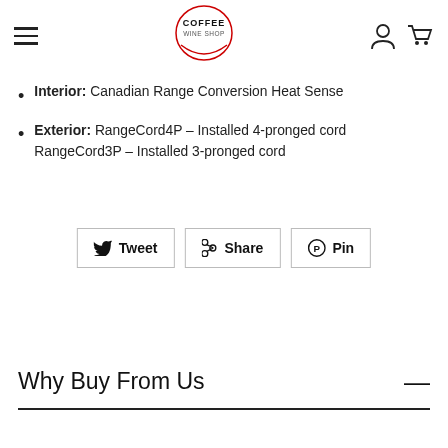Coffee Wine Shop — navigation header with logo
Interior: Canadian Range Conversion Heat Sense
Exterior: RangeCord4P – Installed 4-pronged cord
RangeCord3P – Installed 3-pronged cord
[Figure (other): Social share buttons: Tweet, Share, Pin]
Why Buy From Us